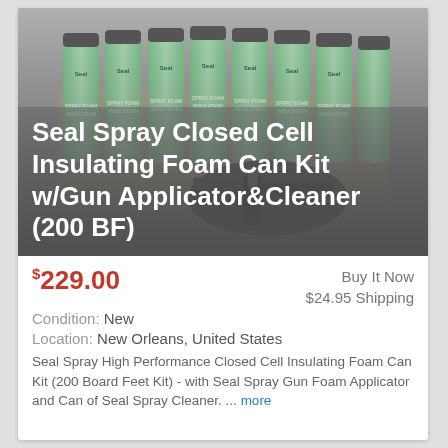[Figure (photo): Multiple green aerosol spray foam insulation cans with 'Seal' branding arranged in a row, with a foam gun applicator in the foreground.]
Seal Spray Closed Cell Insulating Foam Can Kit w/Gun Applicator&Cleaner (200 BF)
$229.00
Buy It Now
$24.95 Shipping
Condition: New
Location: New Orleans, United States
Seal Spray High Performance Closed Cell Insulating Foam Can Kit (200 Board Feet Kit) - with Seal Spray Gun Foam Applicator and Can of Seal Spray Cleaner. ... more